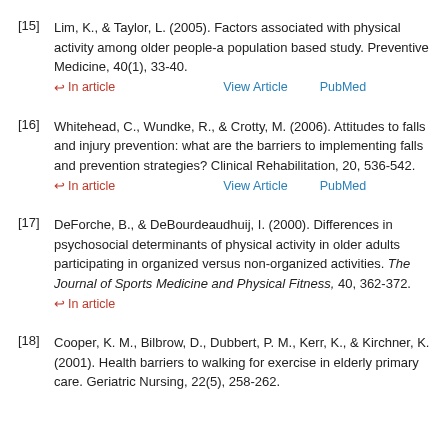[15] Lim, K., & Taylor, L. (2005). Factors associated with physical activity among older people-a population based study. Preventive Medicine, 40(1), 33-40. ↩ In article   View Article   PubMed
[16] Whitehead, C., Wundke, R., & Crotty, M. (2006). Attitudes to falls and injury prevention: what are the barriers to implementing falls and prevention strategies? Clinical Rehabilitation, 20, 536-542. ↩ In article   View Article   PubMed
[17] DeForche, B., & DeBourdeaudhuij, I. (2000). Differences in psychosocial determinants of physical activity in older adults participating in organized versus non-organized activities. The Journal of Sports Medicine and Physical Fitness, 40, 362-372. ↩ In article
[18] Cooper, K. M., Bilbrow, D., Dubbert, P. M., Kerr, K., & Kirchner, K. (2001). Health barriers to walking for exercise in elderly primary care. Geriatric Nursing, 22(5), 258-262.